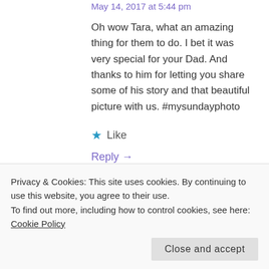May 14, 2017 at 5:44 pm
Oh wow Tara, what an amazing thing for them to do. I bet it was very special for your Dad. And thanks to him for letting you share some of his story and that beautiful picture with us. #mysundayphoto
★ Like
Reply →
Privacy & Cookies: This site uses cookies. By continuing to use this website, you agree to their use.
To find out more, including how to control cookies, see here: Cookie Policy
Close and accept